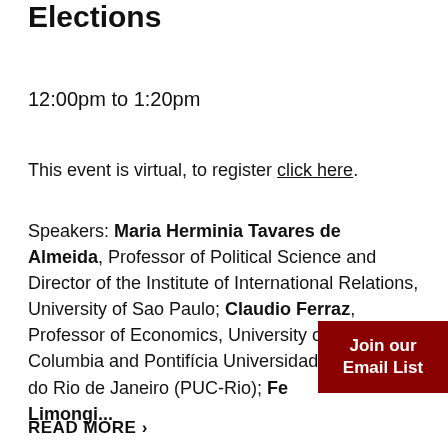Elections
12:00pm to 1:20pm
This event is virtual, to register click here.
Speakers: Maria Herminia Tavares de Almeida, Professor of Political Science and Director of the Institute of International Relations, University of Sao Paulo; Claudio Ferraz, Professor of Economics, University of British Columbia and Pontifícia Universidade Católica do Rio de Janeiro (PUC-Rio); Fe... Limongi...
Join our Email List
READ MORE